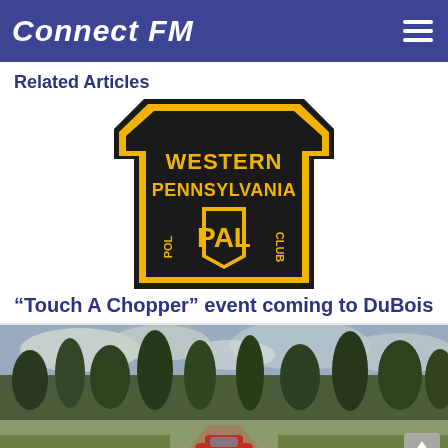Connect FM
Related Articles
[Figure (logo): Western Pennsylvania PAL (Police Athletic League) logo — black keystone shape with yellow border, gold text reading WESTERN PENNSYLVANIA PAL, with a shield in the center]
“Touch A Chopper” event coming to DuBois
[Figure (photo): Outdoor tropical scene with green trees, cloudy sky, a dirt road, and a red convertible car in the foreground]
First Class Children’s Foundation holding 10th